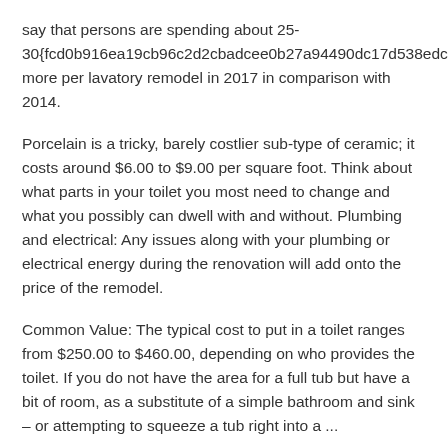say that persons are spending about 25-30{fcd0b916ea19cb96c2d2cbadcee0b27a94490dc17d538edcacb7ca5ee0861101} more per lavatory remodel in 2017 in comparison with 2014.
Porcelain is a tricky, barely costlier sub-type of ceramic; it costs around $6.00 to $9.00 per square foot. Think about what parts in your toilet you most need to change and what you possibly can dwell with and without. Plumbing and electrical: Any issues along with your plumbing or electrical energy during the renovation will add onto the price of the remodel.
Common Value: The typical cost to put in a toilet ranges from $250.00 to $460.00, depending on who provides the toilet. If you do not have the area for a full tub but have a bit of room, as a substitute of a simple bathroom and sink – or attempting to squeeze a tub right into a ...
GRACE   FEBRUARY 9, 2020
BATHROOM REMODEL COST